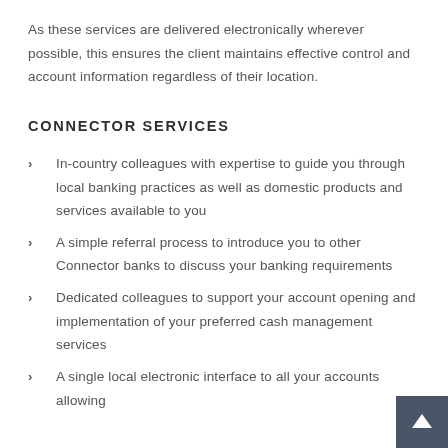As these services are delivered electronically wherever possible, this ensures the client maintains effective control and account information regardless of their location.
CONNECTOR SERVICES
In-country colleagues with expertise to guide you through local banking practices as well as domestic products and services available to you
A simple referral process to introduce you to other Connector banks to discuss your banking requirements
Dedicated colleagues to support your account opening and implementation of your preferred cash management services
A single local electronic interface to all your accounts allowing